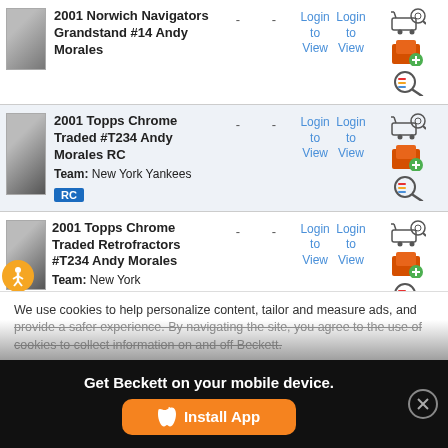2001 Norwich Navigators Grandstand #14 Andy Morales - - Login to View Login to View
2001 Topps Chrome Traded #T234 Andy Morales RC Team: New York Yankees RC - - Login to View Login to View
2001 Topps Chrome Traded Retrofractors #T234 Andy Morales Team: New York - - Login to View Login to View
We use cookies to help personalize content, tailor and measure ads, and provide a safer experience. By navigating the site, you agree to the use of cookies to collect information on and off Beckett.
Get Beckett on your mobile device.
Install App